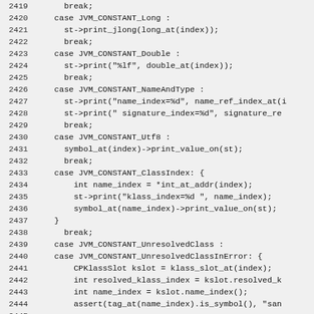Source code listing lines 2419-2448 showing C++ switch-case code for JVM constant pool printing